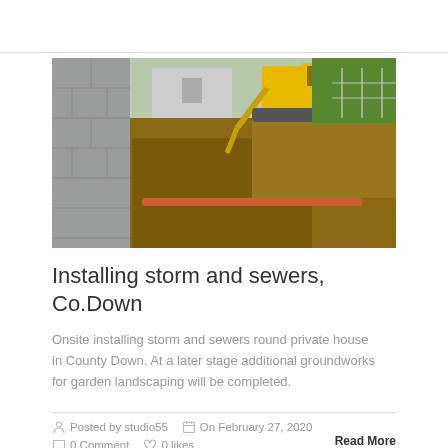[Figure (photo): Construction site photo showing a yellow excavator digging a trench next to a concrete block wall, with exposed earth and pipes visible, and green fields and fencing in the background.]
Installing storm and sewers, Co.Down
Onsite installing storm and sewers round private house in County Down. At a later stage additional groundworks for garden landscaping will be completed.
Posted by studio55   On February 27, 2020
0 Comment   0 likes   Read More